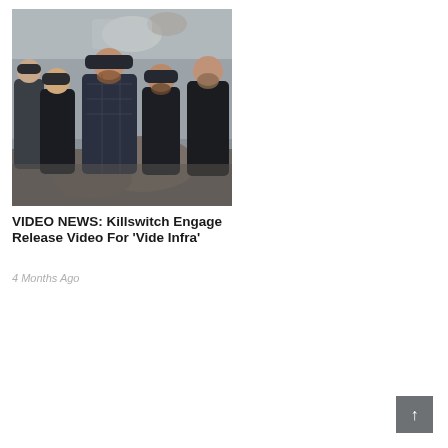[Figure (photo): Band photo of Killswitch Engage posing outdoors against a stone/concrete wall, five members, dark clothing, beanie hats, beards]
VIDEO NEWS: Killswitch Engage Release Video For 'Vide Infra'
4 Months Ago